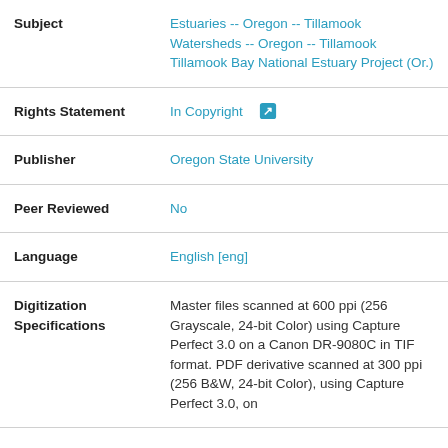| Subject | Estuaries -- Oregon -- Tillamook
Watersheds -- Oregon -- Tillamook
Tillamook Bay National Estuary Project (Or.) |
| Rights Statement | In Copyright |
| Publisher | Oregon State University |
| Peer Reviewed | No |
| Language | English [eng] |
| Digitization Specifications | Master files scanned at 600 ppi (256 Grayscale, 24-bit Color) using Capture Perfect 3.0 on a Canon DR-9080C in TIF format. PDF derivative scanned at 300 ppi (256 B&W, 24-bit Color), using Capture Perfect 3.0, on |